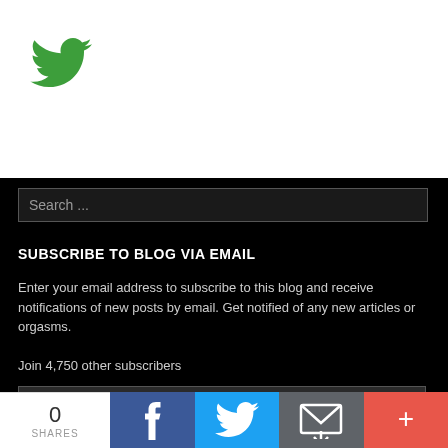[Figure (logo): Green Twitter bird logo in top-left of white section]
Search ...
SUBSCRIBE TO BLOG VIA EMAIL
Enter your email address to subscribe to this blog and receive notifications of new posts by email. Get notified of any new articles or orgasms.
Join 4,750 other subscribers
Email Address
0 SHARES